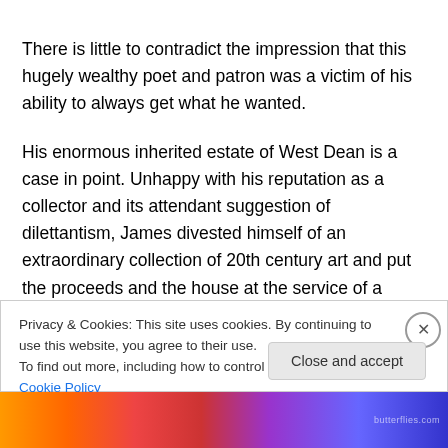There is little to contradict the impression that this hugely wealthy poet and patron was a victim of his ability to always get what he wanted.
His enormous inherited estate of West Dean is a case in point. Unhappy with his reputation as a collector and its attendant suggestion of dilettantism, James divested himself of an extraordinary collection of 20th century art and put the proceeds and the house at the service of a college. And yet we find him blithely trashing its pedagogical offerings on camera.
Privacy & Cookies: This site uses cookies. By continuing to use this website, you agree to their use.
To find out more, including how to control cookies, see here: Cookie Policy
Close and accept
[Figure (illustration): Colorful decorative bottom bar with gradient colors (orange, red, purple, blue)]